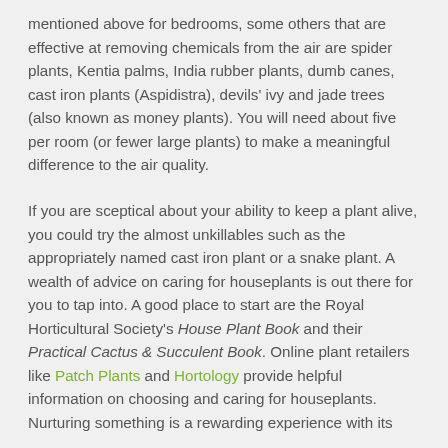mentioned above for bedrooms, some others that are effective at removing chemicals from the air are spider plants, Kentia palms, India rubber plants, dumb canes, cast iron plants (Aspidistra), devils' ivy and jade trees (also known as money plants). You will need about five per room (or fewer large plants) to make a meaningful difference to the air quality.
If you are sceptical about your ability to keep a plant alive, you could try the almost unkillables such as the appropriately named cast iron plant or a snake plant. A wealth of advice on caring for houseplants is out there for you to tap into. A good place to start are the Royal Horticultural Society's House Plant Book and their Practical Cactus & Succulent Book. Online plant retailers like Patch Plants and Hortology provide helpful information on choosing and caring for houseplants. Nurturing something is a rewarding experience with its...